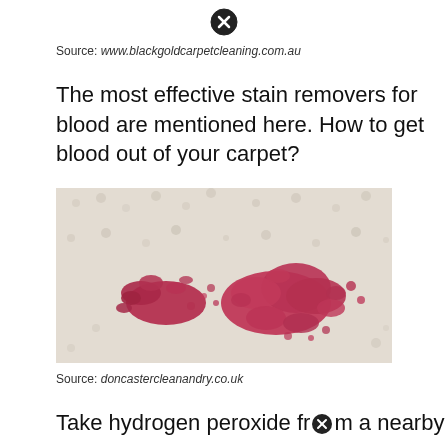[Figure (other): Close button / X icon circle at top center of page]
Source: www.blackgoldcarpetcleaning.com.au
The most effective stain removers for blood are mentioned here. How to get blood out of your carpet?
[Figure (photo): Close-up photo of a white/cream carpet with red blood stains scattered across it]
Source: doncastercleanandry.co.uk
Take hydrogen peroxide fr[X icon] a nearby medical store.